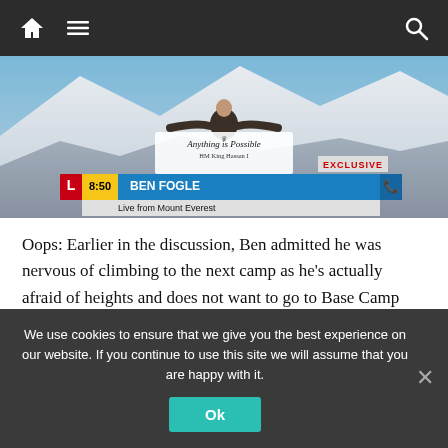Navigation bar with home, menu, and search icons
[Figure (photo): Man standing at Mount Everest base camp holding a banner reading 'Anything is Possible - HM King Hassan I' with a TV lower-third overlay showing Lorraine logo, time 8:50, name BEN FOGLE, subtitle 'Live from Mount Everest', and 'EXCLUSIVE' tag in red]
Oops: Earlier in the discussion, Ben admitted he was nervous of climbing to the next camp as he’s actually afraid of heights and does not want to go to Base Camp Three
We use cookies to ensure that we give you the best experience on our website. If you continue to use this site we will assume that you are happy with it.